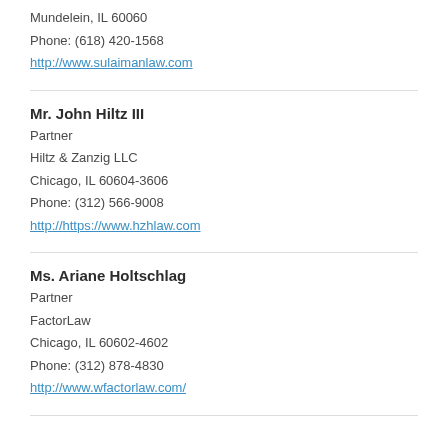Mundelein, IL 60060
Phone: (618) 420-1568
http://www.sulaimanlaw.com
Mr. John Hiltz III
Partner
Hiltz & Zanzig LLC
Chicago, IL 60604-3606
Phone: (312) 566-9008
http://https://www.hzhlaw.com
Ms. Ariane Holtschlag
Partner
FactorLaw
Chicago, IL 60602-4602
Phone: (312) 878-4830
http://www.wfactorlaw.com/